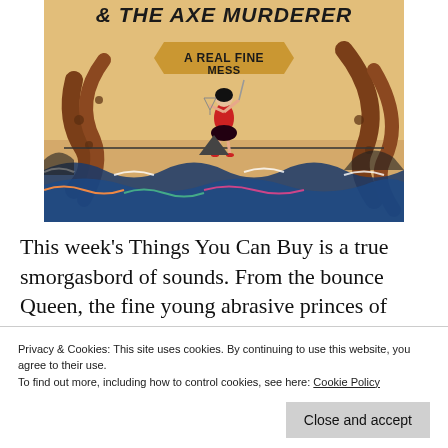[Figure (illustration): Album artwork for '& The Axe Murderer – A Real Fine Mess'. Shows a woman in a red corset balancing on a tightrope over ocean waves with octopus tentacles, a shark, and colorful illustrated waves. The title text appears at the top in bold distressed lettering with a banner reading 'A Real Fine Mess'.]
This week's Things You Can Buy is a true smorgasbord of sounds. From the bounce Queen, the fine young abrasive princes of
Privacy & Cookies: This site uses cookies. By continuing to use this website, you agree to their use. To find out more, including how to control cookies, see here: Cookie Policy
throwback-honoring music-making. Here